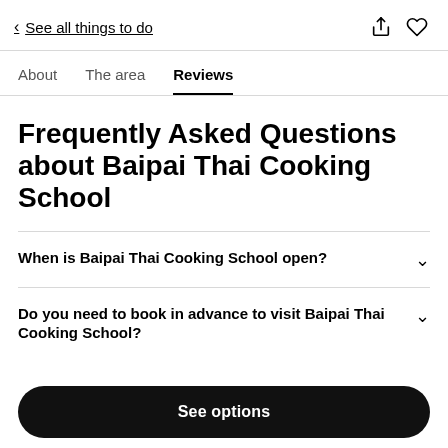< See all things to do
About  The area  Reviews
Frequently Asked Questions about Baipai Thai Cooking School
When is Baipai Thai Cooking School open?
Do you need to book in advance to visit Baipai Thai Cooking School?
See options